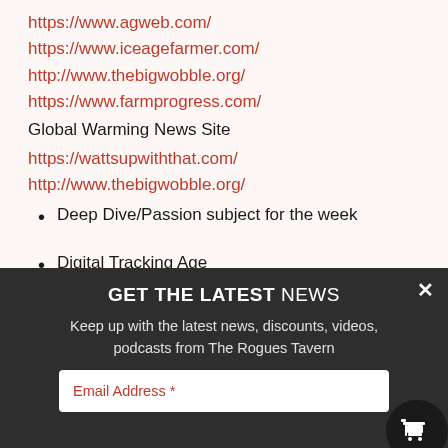https://www.agweb.com/
https://www.iceagefarmer.com/
http://www.thebigwobble.org/
https://www.farmprogress.com/
Global Warming News Site
https://wattsupwiththat.com/
http://www.thebigwobble.org/
Deep Dive/Passion subject for the week
Digital Tracking Age
GET THE LATEST NEWS
Keep up with the latest news, discounts, videos, podcasts from The Rogues Tavern
Email Address *